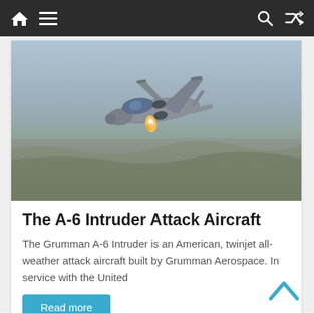Navigation bar with home, menu, search, and shuffle icons
[Figure (photo): A Grumman A-6 Intruder attack aircraft in flight over desert terrain, seen from above and slightly ahead, with flares or exhaust visible beneath the fuselage.]
The A-6 Intruder Attack Aircraft
The Grumman A-6 Intruder is an American, twinjet all-weather attack aircraft built by Grumman Aerospace. In service with the United
Read more